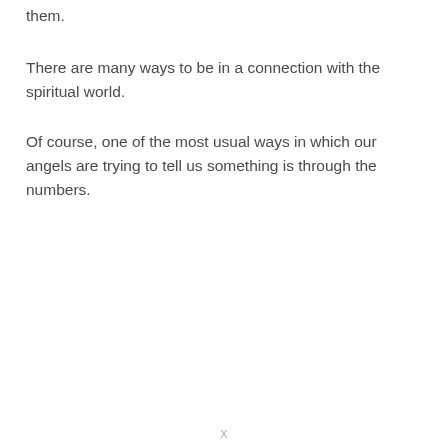them.
There are many ways to be in a connection with the spiritual world.
Of course, one of the most usual ways in which our angels are trying to tell us something is through the numbers.
X